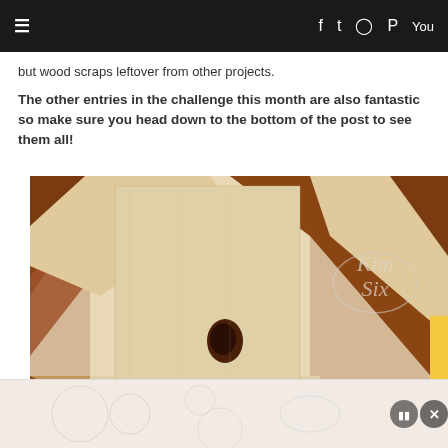≡  f  𝕏  ⭕  ⓟ  ▶
but wood scraps leftover from other projects.
The other entries in the challenge this month are also fantastic so make sure you head down to the bottom of the post to see them all!
[Figure (photo): Close-up photo of a wood craft project showing light and dark wood strips arranged in a geometric/herringbone pattern. A dark knot is visible in the center of a light wood panel. A grey crackle-glazed ceramic or decorative piece is partially visible at the bottom. Yellow fabric is visible at the right edge. A watermark reading 'Kim Six' in script is overlaid on the upper right.]
[Figure (photo): Bottom advertisement/video ad bar with mute and close (X) buttons on a light pinkish-beige background with faint decorative pattern.]